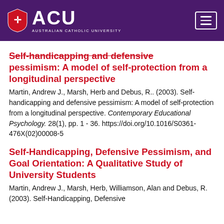[Figure (logo): ACU (Australian Catholic University) logo with shield icon on dark purple header background, with hamburger menu icon on the right]
Self-handicapping and defensive pessimism: A model of self-protection from a longitudinal perspective
Martin, Andrew J., Marsh, Herb and Debus, R.. (2003). Self-handicapping and defensive pessimism: A model of self-protection from a longitudinal perspective. Contemporary Educational Psychology. 28(1), pp. 1 - 36. https://doi.org/10.1016/S0361-476X(02)00008-5
Self-Handicapping, Defensive Pessimism, and Goal Orientation: A Qualitative Study of University Students
Martin, Andrew J., Marsh, Herb, Williamson, Alan and Debus, R. (2003). Self-Handicapping, Defensive